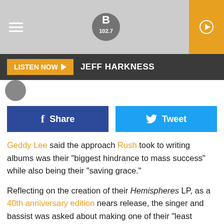[Figure (screenshot): B102.7 radio station logo in top header bar with hamburger menu and play button]
LISTEN NOW  JEFF HARKNESS
Share
Tweet
Geddy Lee said the approach Rush took to writing albums was their "biggest hindrance to mass success" while also being their "saving grace."
Reflecting on the creation of their Hemispheres LP, as a 40th anniversary edition nears release, the singer and bassist was asked about making one of their "least accessible" albums just after their single "Closer to the Heart" had achieved chart success.